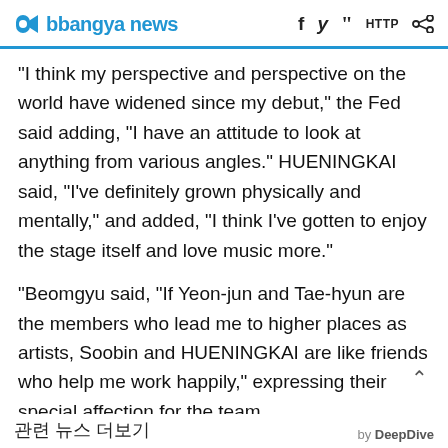bbangya news
"I think my perspective and perspective on the world have widened since my debut," the Fed said adding, "I have an attitude to look at anything from various angles." HUENINGKAI said, "I've definitely grown physically and mentally," and added, "I think I've gotten to enjoy the stage itself and love music more."
Beomgyu said, "If Yeon-jun and Tae-hyun are the members who lead me to higher places as artists, Soobin and HUENINGKAI are like friends who help me work happily," expressing their special affection for the team.
by DeepDive